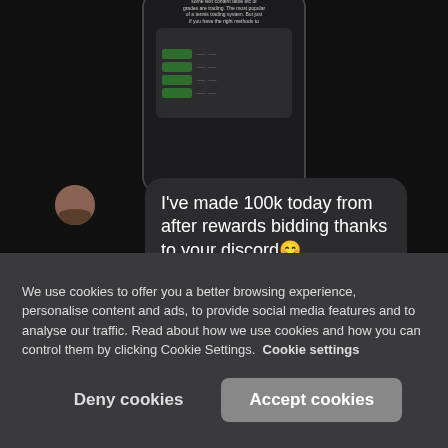[Figure (screenshot): Screenshot of a social media or messaging app showing a chat interface. A phone mockup at the top displays a trading/leaderboard screen with green cells. Below is a chat bubble reading: "I've made 100k today from after rewards bidding thanks to your discord 😄" with a red heart reaction and a user avatar. At the bottom there is a partial leaderboard interface.]
We use cookies to offer you a better browsing experience, personalise content and ads, to provide social media features and to analyse our traffic. Read about how we use cookies and how you can control them by clicking Cookie Settings.  Cookie settings
Deny cookies
Accept cookies